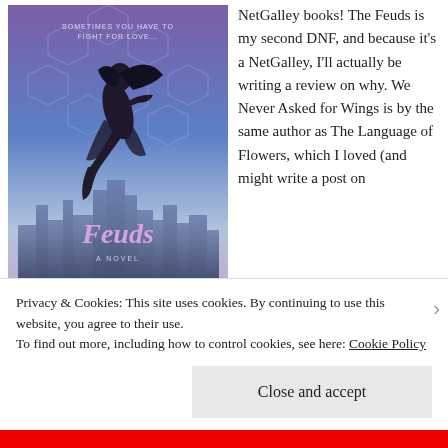[Figure (illustration): Book cover of 'Feuds' by Avery Hastings showing a dancer in black leaping against a purple/blue city skyline background with hexagonal patterns. Text reads 'Sometimes you have to fight for love... A Novel' at top.]
NetGalley books! The Feuds is my second DNF, and because it's a NetGalley, I'll actually be writing a review on why. We Never Asked for Wings is by the same author as The Language of Flowers, which I loved (and might write a post on
Privacy & Cookies: This site uses cookies. By continuing to use this website, you agree to their use.
To find out more, including how to control cookies, see here: Cookie Policy
Close and accept